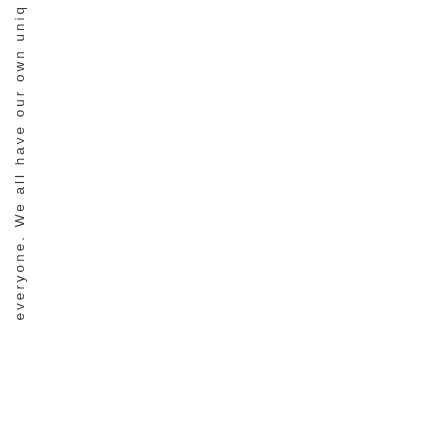everyone. We all have our own uniq